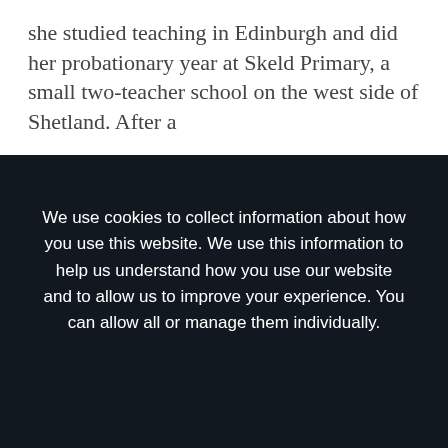she studied teaching in Edinburgh and did her probationary year at Skeld Primary, a small two-teacher school on the west side of Shetland. After a
We use cookies to collect information about how you use this website. We use this information to help us understand how you use our website and to allow us to improve your experience. You can allow all or manage them individually.
Manage cookies
Allow all
Claire Robertson, comes in for a day and a half every week so that Hannah gets time to do admin. On this Thursday afternoon, we sit in for an hour to watch